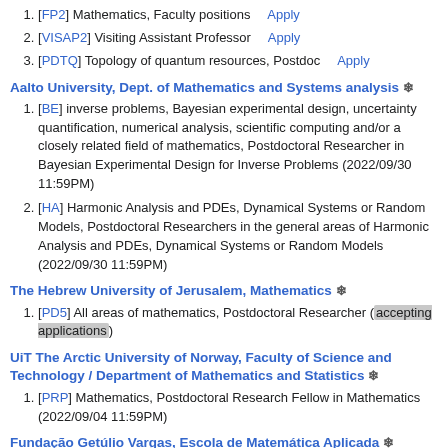[FP2] Mathematics, Faculty positions   Apply
[VISAP2] Visiting Assistant Professor   Apply
[PDTQ] Topology of quantum resources, Postdoc   Apply
Aalto University, Dept. of Mathematics and Systems analysis ❄
[BE] inverse problems, Bayesian experimental design, uncertainty quantification, numerical analysis, scientific computing and/or a closely related field of mathematics, Postdoctoral Researcher in Bayesian Experimental Design for Inverse Problems (2022/09/30 11:59PM)
[HA] Harmonic Analysis and PDEs, Dynamical Systems or Random Models, Postdoctoral Researchers in the general areas of Harmonic Analysis and PDEs, Dynamical Systems or Random Models (2022/09/30 11:59PM)
The Hebrew University of Jerusalem, Mathematics ❄
[PD5] All areas of mathematics, Postdoctoral Researcher (accepting applications)
UiT The Arctic University of Norway, Faculty of Science and Technology / Department of Mathematics and Statistics ❄
[PRP] Mathematics, Postdoctoral Research Fellow in Mathematics (2022/09/04 11:59PM)
Fundação Getúlio Vargas, Escola de Matemática Aplicada ❄
[RAP1] Applied Mathematcs, Open rank faculty positions in